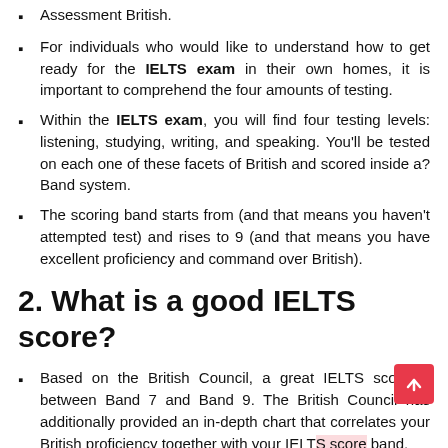Assessment British.
For individuals who would like to understand how to get ready for the IELTS exam in their own homes, it is important to comprehend the four amounts of testing.
Within the IELTS exam, you will find four testing levels: listening, studying, writing, and speaking. You'll be tested on each one of these facets of British and scored inside a? Band system.
The scoring band starts from (and that means you haven't attempted test) and rises to 9 (and that means you have excellent proficiency and command over British).
2. What is a good IELTS score?
Based on the British Council, a great IELTS score is between Band 7 and Band 9. The British Council has additionally provided an in-depth chart that correlates your British proficiency together with your IELTS score band.
Furthermore additionally the scoring is a question...